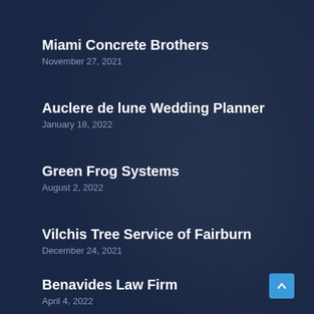Miami Concrete Brothers
November 27, 2021
Auclere de lune Wedding Planner
January 18, 2022
Green Frog Systems
August 2, 2022
Vilchis Tree Service of Fairburn
December 24, 2021
Benavides Law Firm
April 4, 2022